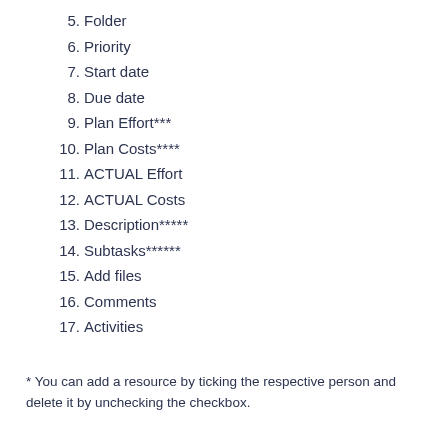5. Folder
6. Priority
7. Start date
8. Due date
9. Plan Effort***
10. Plan Costs****
11. ACTUAL Effort
12. ACTUAL Costs
13. Description*****
14. Subtasks******
15. Add files
16. Comments
17. Activities
* You can add a resource by ticking the respective person and delete it by unchecking the checkbox.